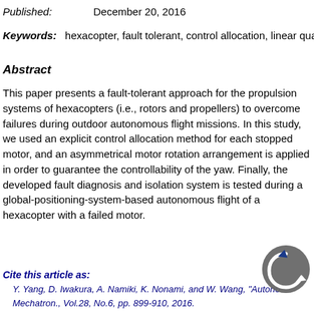Published: December 20, 2016
Keywords: hexacopter, fault tolerant, control allocation, linear quadr...
Abstract
This paper presents a fault-tolerant approach for the propulsion systems of hexacopters (i.e., rotors and propellers) to overcome failures during outdoor autonomous flight missions. In this study, we used an explicit control allocation method for each stopped motor, and an asymmetrical motor rotation arrangement is applied in order to guarantee the controllability of the yaw. Finally, the developed fault diagnosis and isolation system is tested during a global-positioning-system-based autonomous flight of a hexacopter with a failed motor.
Cite this article as:
Y. Yang, D. Iwakura, A. Namiki, K. Nonami, and W. Wang, "Autono... Mechatron., Vol.28, No.6, pp. 899-910, 2016.